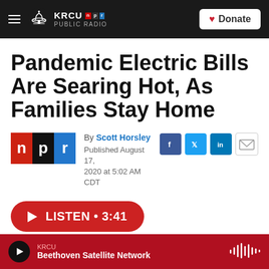KRCU PUBLIC RADIO — Donate
Pandemic Electric Bills Are Searing Hot, As Families Stay Home
By Scott Horsley
Published August 17, 2020 at 5:02 AM CDT
[Figure (logo): NPR logo — red n, black p, blue r]
[Figure (infographic): Social share icons: Facebook, Twitter, LinkedIn, Email]
LISTEN • 3:41
KRCU — Beethoven Satellite Network